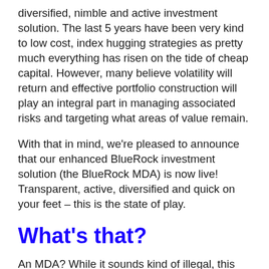diversified, nimble and active investment solution. The last 5 years have been very kind to low cost, index hugging strategies as pretty much everything has risen on the tide of cheap capital. However, many believe volatility will return and effective portfolio construction will play an integral part in managing associated risks and targeting what areas of value remain.
With that in mind, we're pleased to announce that our enhanced BlueRock investment solution (the BlueRock MDA) is now live! Transparent, active, diversified and quick on your feet – this is the state of play.
What's that?
An MDA? While it sounds kind of illegal, this version is indeed very legal and an extremely effective method of managing an investment portfolio in a cost-effective manner. To avoid any possible